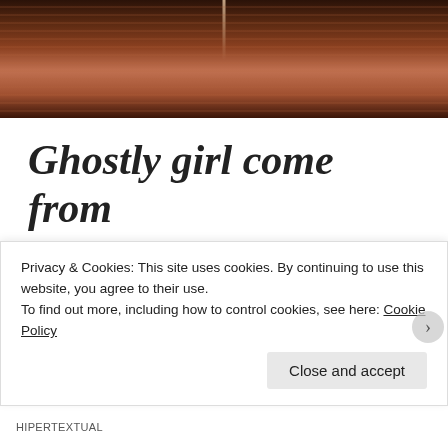[Figure (photo): Dark reddish-brown abstract image with horizontal streaks and a faint vertical light element, resembling a moody artistic photograph]
Ghostly girl come from nowhere, crossing the street
October 30, 2018
Posted in Afterlife, Fashion, Illustration and Graphic Design
Privacy & Cookies: This site uses cookies. By continuing to use this website, you agree to their use. To find out more, including how to control cookies, see here: Cookie Policy
Close and accept